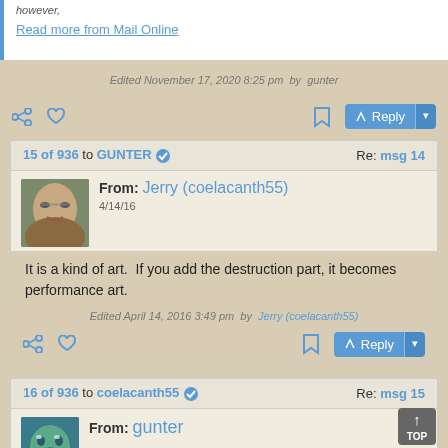however,
Read more from Mail Online
Edited November 17, 2020 8:25 pm  by  gunter
15 of 936 to GUNTER   Re: msg 14
From: Jerry (coelacanth55)
4/14/16
It is a kind of art.  If you add the destruction part, it becomes performance art.
Edited April 14, 2016 3:49 pm  by  Jerry (coelacanth55)
16 of 936 to coelacanth55   Re: msg 15
From: gunter